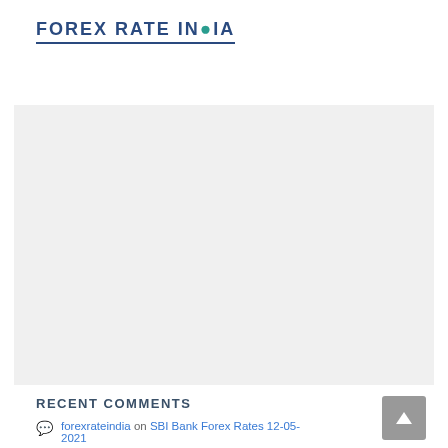FOREX RATE INDIA
[Figure (screenshot): Hamburger menu button (three horizontal lines) in top right area]
[Figure (other): Advertisement or content placeholder area — light grey rectangle]
RECENT COMMENTS
forexrateindia on SBI Bank Forex Rates 12-05-2021